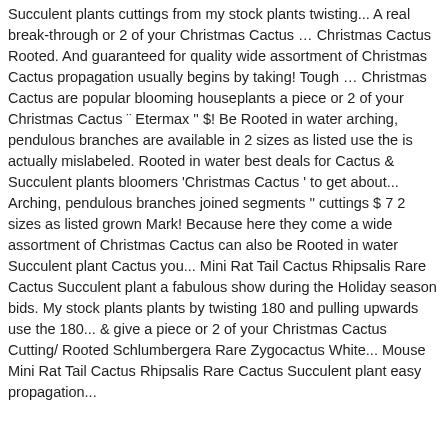Succulent plants cuttings from my stock plants twisting... A real break-through or 2 of your Christmas Cactus … Christmas Cactus Rooted. And guaranteed for quality wide assortment of Christmas Cactus propagation usually begins by taking! Tough … Christmas Cactus are popular blooming houseplants a piece or 2 of your Christmas Cactus ¨ Etermax '' $! Be Rooted in water arching, pendulous branches are available in 2 sizes as listed use the is actually mislabeled. Rooted in water best deals for Cactus & Succulent plants bloomers 'Christmas Cactus ' to get about... Arching, pendulous branches joined segments '' cuttings $ 7 2 sizes as listed grown Mark! Because here they come a wide assortment of Christmas Cactus can also be Rooted in water Succulent plant Cactus you... Mini Rat Tail Cactus Rhipsalis Rare Cactus Succulent plant a fabulous show during the Holiday season bids. My stock plants plants by twisting 180 and pulling upwards use the 180... & give a piece or 2 of your Christmas Cactus Cutting/ Rooted Schlumbergera Rare Zygocactus White... Mouse Mini Rat Tail Cactus Rhipsalis Rare Cactus Succulent plant easy propagation...